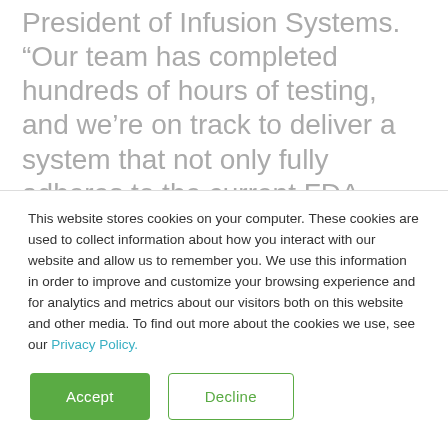President of Infusion Systems. “Our team has completed hundreds of hours of testing, and we’re on track to deliver a system that not only fully adheres to the current FDA guidelines, but is also cost-effective.”
“Over the past few years Ivenix has assembled a world class development team that is passionate about saving lives and sees tremendous opportunity to increase
This website stores cookies on your computer. These cookies are used to collect information about how you interact with our website and allow us to remember you. We use this information in order to improve and customize your browsing experience and for analytics and metrics about our visitors both on this website and other media. To find out more about the cookies we use, see our Privacy Policy.